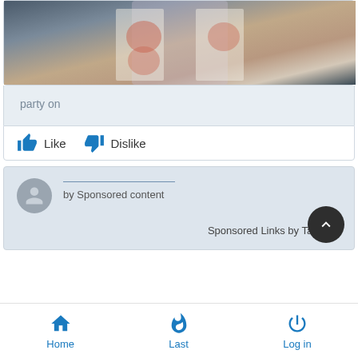[Figure (photo): Partial screenshot of a social media post showing a person in colorful clothing, cropped at torso level]
party on
Like   Dislike
by Sponsored content
Sponsored Links by Taboola
Home   Last   Log in